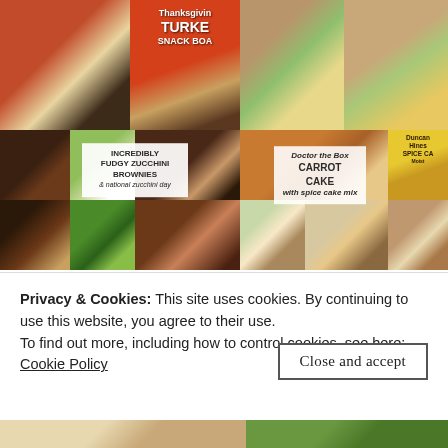[Figure (photo): Food blog collage showing turkey snack board, Thanksgiving turkey snack board sign, trail mix/snack cups in top row; then incredibly fudgy zucchini brownies collage with chocolate pieces, pesto cream, zucchini, brownie squares; and Doctor the Box Carrot Cake with spice cake mix collage with carrot loaf, spice cake box, carrot cake slices]
Privacy & Cookies: This site uses cookies. By continuing to use this website, you agree to their use.
To find out more, including how to control cookies, see here:
Cookie Policy
Close and accept
[Figure (photo): Bottom strip of food photos — appears to show a dish and garden/outdoor scene]